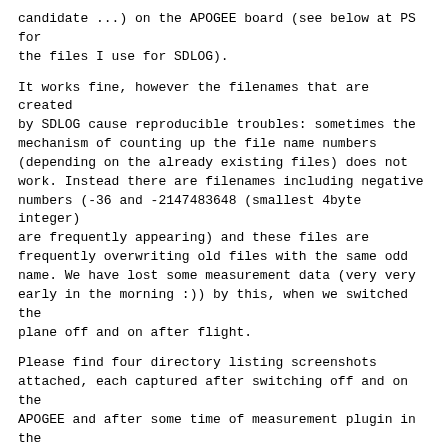candidate ...) on the APOGEE board (see below at PS for the files I use for SDLOG).
It works fine, however the filenames that are created by SDLOG cause reproducible troubles: sometimes the mechanism of counting up the file name numbers (depending on the already existing files) does not work. Instead there are filenames including negative numbers (-36 and -2147483648 (smallest 4byte integer) are frequently appearing) and these files are frequently overwriting old files with the same odd name. We have lost some measurement data (very very early in the morning :)) by this, when we switched the plane off and on after flight.
Please find four directory listing screenshots attached, each captured after switching off and on the APOGEE and after some time of measurement plugin in the USB cable to the computer respectively. First (01.png) everything is fine (pprzlog_001.LOG), next (02.png) there is an additional file pprzlog_-2147483648.LOG (ugly but containing the new data), at the next measurement (003.png) we get a pprzlog_-36.LOG which is finally (04.png) overwritten (see the size and date of the file).